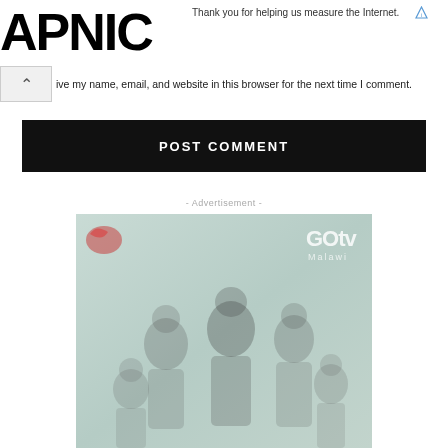[Figure (logo): APNIC logo in large bold black text]
Thank you for helping us measure the Internet.
ive my name, email, and website in this browser for the next time I comment.
POST COMMENT
- Advertisement -
[Figure (photo): GOtv Malawi advertisement showing soccer/football players]